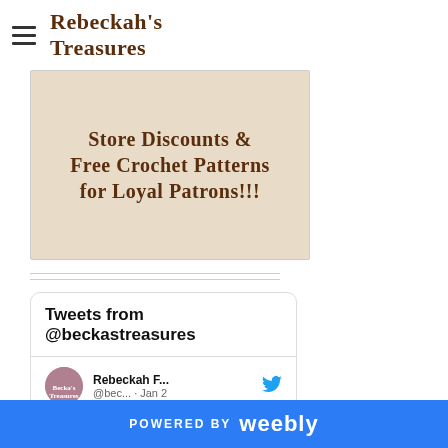Rebeckah's Treasures
[Figure (illustration): Banner image with decorative text on a beige textured background reading 'Store Discounts & Free Crochet Patterns for Loyal Patrons!!!']
Tweets from @beckastreasures
Rebeckah F... @bec... · Jan 2
Free Crochet Pattern for X St Market Bag by Pattern-Paradise.com dlvr.it/SGNYKM
POWERED BY weebly